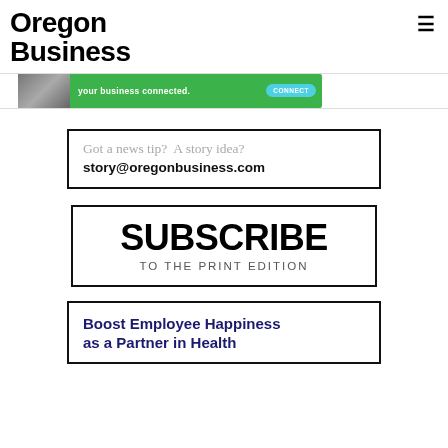Oregon Business
[Figure (infographic): Green advertisement banner with text 'your business connected.' and a CONNECT button]
Got a news tip?  A story idea?
story@oregonbusiness.com
SUBSCRIBE
TO THE PRINT EDITION
Boost Employee Happiness as a Partner in Health